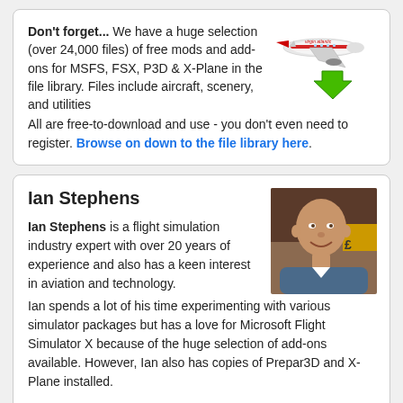Don't forget... We have a huge selection (over 24,000 files) of free mods and add-ons for MSFS, FSX, P3D & X-Plane in the file library. Files include aircraft, scenery, and utilities All are free-to-download and use - you don't even need to register. Browse on down to the file library here.
[Figure (illustration): Airplane (Virgin Atlantic livery) flying with a green download arrow below it]
Ian Stephens
[Figure (photo): Headshot photo of Ian Stephens, a middle-aged bald man smiling]
Ian Stephens is a flight simulation industry expert with over 20 years of experience and also has a keen interest in aviation and technology. Ian spends a lot of his time experimenting with various simulator packages but has a love for Microsoft Flight Simulator X because of the huge selection of add-ons available. However, Ian also has copies of Prepar3D and X-Plane installed.
Ian has been writing for Fly Away Simulation for over 9 years. Should you wish, you can contact Ian via email at ian.stephens@flyawaysimulation...